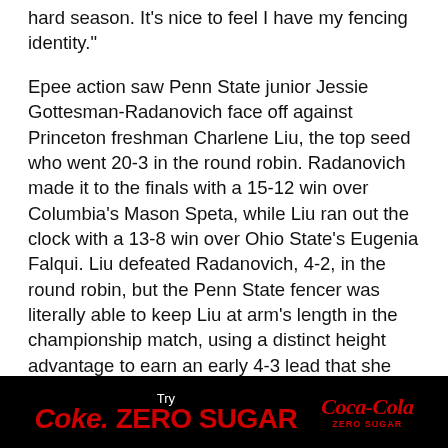hard season. It's nice to feel I have my fencing identity."
Epee action saw Penn State junior Jessie Gottesman-Radanovich face off against Princeton freshman Charlene Liu, the top seed who went 20-3 in the round robin. Radanovich made it to the finals with a 15-12 win over Columbia's Mason Speta, while Liu ran out the clock with a 13-8 win over Ohio State's Eugenia Falqui. Liu defeated Radanovich, 4-2, in the round robin, but the Penn State fencer was literally able to keep Liu at arm's length in the championship match, using a distinct height advantage to earn an early 4-3 lead that she was able to maintain throughout. The duo recorded a pair of double touches late that gave Radanovich a 13-9 lead, and she closed it out 15-10 to earn Penn State's seventh women's epee title and first since 2010.
[Figure (other): Coca-Cola Zero Sugar advertisement banner. Black background with 'Try Coke. ZERO SUGAR' in red and white text and the Coca-Cola Zero Sugar logo.]